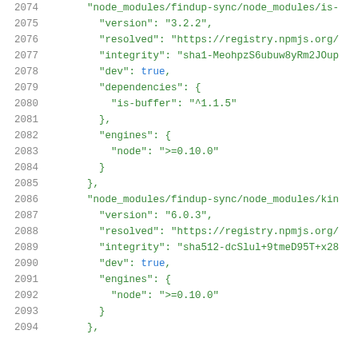Code listing lines 2074-2094 showing JSON package-lock.json content for node_modules/findup-sync nested modules including is-buffer and kinect entries with version, resolved, integrity, dev, dependencies, and engines fields.